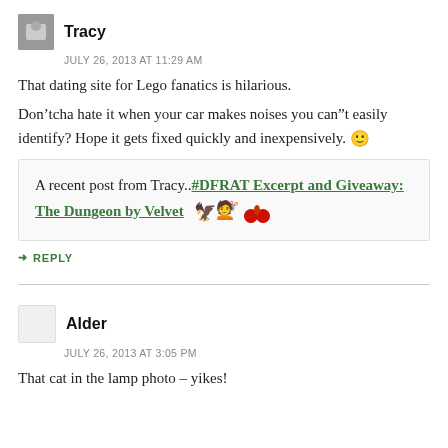Tracy
JULY 26, 2013 AT 11:29 AM
That dating site for Lego fanatics is hilarious.
Don’tcha hate it when your car makes noises you can”t easily identify? Hope it gets fixed quickly and inexpensively. 🙂
A recent post from Tracy..#DFRAT Excerpt and Giveaway: The Dungeon by Velvet 🐾
REPLY
Alder
JULY 26, 2013 AT 3:05 PM
That cat in the lamp photo – yikes!